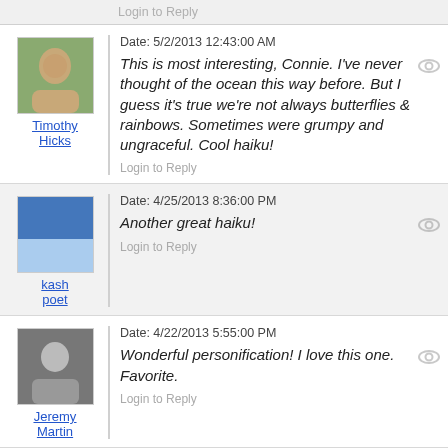Login to Reply
Date: 5/2/2013 12:43:00 AM
This is most interesting, Connie. I've never thought of the ocean this way before. But I guess it's true we're not always butterflies & rainbows. Sometimes were grumpy and ungraceful. Cool haiku!
Login to Reply
Timothy Hicks
Date: 4/25/2013 8:36:00 PM
Another great haiku!
Login to Reply
kash poet
Date: 4/22/2013 5:55:00 PM
Wonderful personification! I love this one. Favorite.
Login to Reply
Jeremy Martin
Date: 4/20/2013 12:08:00 AM
yes I really like this one - I hadn't thought of the